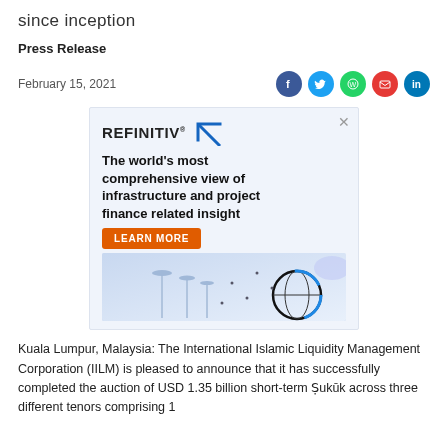since inception
Press Release
February 15, 2021
[Figure (other): Refinitiv advertisement banner with logo, headline 'The world's most comprehensive view of infrastructure and project finance related insight', a 'LEARN MORE' button, and an illustration of wind turbines and a digital globe.]
Kuala Lumpur, Malaysia: The International Islamic Liquidity Management Corporation (IILM) is pleased to announce that it has successfully completed the auction of USD 1.35 billion short-term Ṣukūk across three different tenors comprising 1